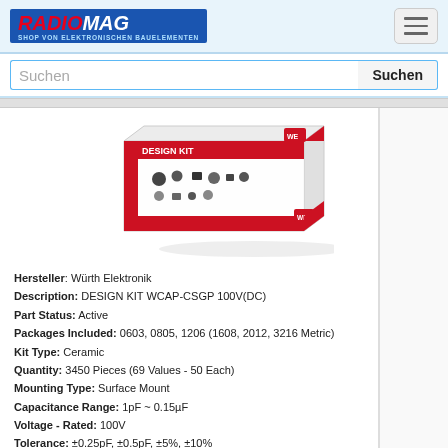RADIOMAG - SHOP VON ELEKTRONISCHEN BAUELEMENTEN
[Figure (screenshot): Search bar with text input field labeled 'Suchen' and a search button labeled 'Suchen']
[Figure (photo): Product photo of a white and red box labeled 'DESIGN KIT' containing various electronic components (capacitors), shown at an angle on a white background]
Hersteller: Würth Elektronik
Description: DESIGN KIT WCAP-CSGP 100V(DC)
Part Status: Active
Packages Included: 0603, 0805, 1206 (1608, 2012, 3216 Metric)
Kit Type: Ceramic
Quantity: 3450 Pieces (69 Values - 50 Each)
Mounting Type: Surface Mount
Capacitance Range: 1pF ~ 0.15µF
Voltage - Rated: 100V
Tolerance: ±0.25pF, ±0.5pF, ±5%, ±10%